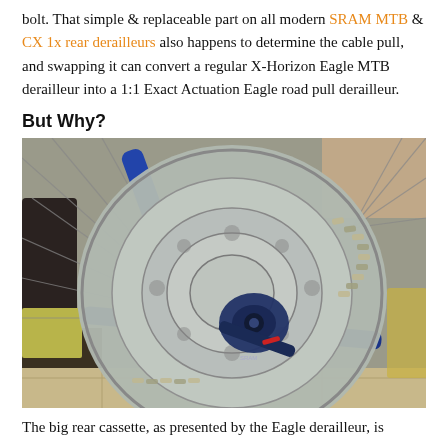bolt. That simple & replaceable part on all modern SRAM MTB & CX 1x rear derailleurs also happens to determine the cable pull, and swapping it can convert a regular X-Horizon Eagle MTB derailleur into a 1:1 Exact Actuation Eagle road pull derailleur.
But Why?
[Figure (photo): Close-up photo of a bicycle rear cassette and derailleur showing a large silver/grey sprocket cluster with chain, a dark blue frame, and a dark derailleur body, taken in a home/workshop setting.]
The big rear cassette, as presented by the Eagle derailleur, is...